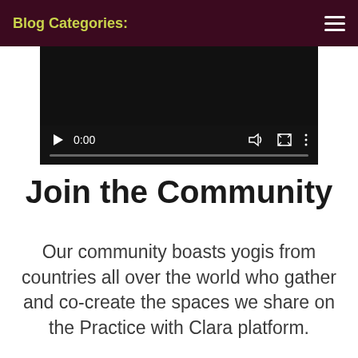Blog Categories:
[Figure (screenshot): Video player showing 0:00 timestamp with play button, volume icon, fullscreen icon, and more options icon on a dark background with a progress bar]
Join the Community
Our community boasts yogis from countries all over the world who gather and co-create the spaces we share on the Practice with Clara platform.